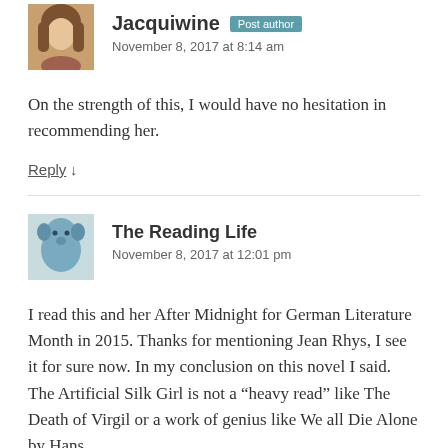[Figure (photo): Avatar photo of Jacquiwine, a woman with long hair]
Jacquiwine Post author
November 8, 2017 at 8:14 am
On the strength of this, I would have no hesitation in recommending her.
Reply ↓
[Figure (photo): Avatar image of The Reading Life, showing a blue stuffed animal]
The Reading Life
November 8, 2017 at 12:01 pm
I read this and her After Midnight for German Literature Month in 2015. Thanks for mentioning Jean Rhys, I see it for sure now. In my conclusion on this novel I said. The Artificial Silk Girl is not a “heavy read” like The Death of Virgil or a work of genius like We all Die Alone by Hans